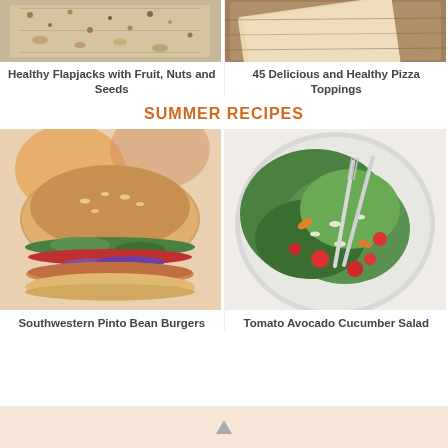[Figure (photo): Healthy flapjacks with fruit, nuts and seeds - overhead view of oat bars with seeds]
Healthy Flapjacks with Fruit, Nuts and Seeds
[Figure (photo): 45 Delicious and Healthy Pizza Toppings - pizza dough on wooden surface]
45 Delicious and Healthy Pizza Toppings
SUMMER RECIPES
[Figure (photo): Southwestern Pinto Bean Burgers - veggie burger with tomato, spinach, onion on bun]
Southwestern Pinto Bean Burgers
[Figure (photo): Tomato Avocado Cucumber Salad - green salad with cherry tomatoes, feta, fork in bowl]
Tomato Avocado Cucumber Salad
▲